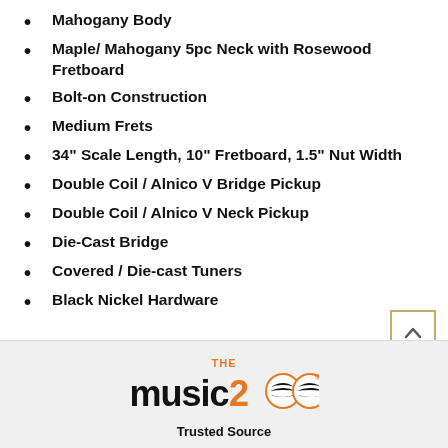Mahogany Body
Maple/ Mahogany 5pc Neck with Rosewood Fretboard
Bolt-on Construction
Medium Frets
34" Scale Length, 10" Fretboard, 1.5" Nut Width
Double Coil / Alnico V Bridge Pickup
Double Coil / Alnico V Neck Pickup
Die-Cast Bridge
Covered / Die-cast Tuners
Black Nickel Hardware
[Figure (logo): The Music Zoo logo with orange and black text on light grey background, with text 'Trusted Source' below]